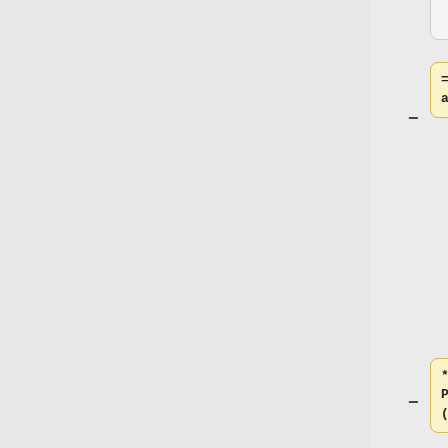[Figure (flowchart): A diff/comparison flowchart showing two columns. Left column (yellow boxes) shows wiki markup changes being removed (minus). Right column (blue boxes) shows added content (plus). Row 1: yellow box '== .oga - audio/ogg ==' with minus, blue box '* Ogg Speex Profile' with plus. Row 2: large blue box '* .spx has traditionally been used for Speex files within Ogg and should be considered for backwards-compatibility' with plus. Row 3: placeholder grey boxes. Row 4: yellow box '* Ogg Audio Profile (audio in' with minus, blue box '== .flac - audio/flac ==' with plus.]